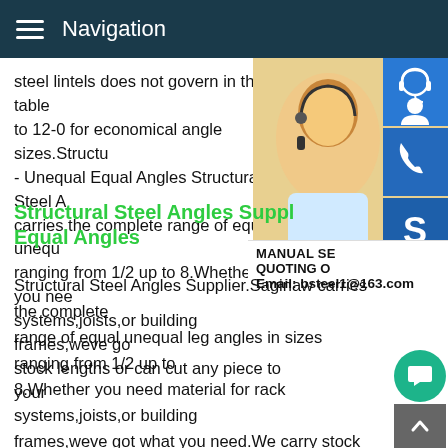Navigation
steel lintels does not govern in these table to 12-0 for economical angle sizes.Structu - Unequal Equal Angles Structural Steel A carries the complete range of equal unequ ranging from 1/2 up to 8.Whether you nee systems,joists,or building frames,weve go stock lengths or can cut any piece to your
Structural Steel Angles Suppl Equal Angles
[Figure (photo): Customer service representative woman with headset, blue icon buttons for support, phone, and Skype on the right side]
MANUAL SE QUOTING O Email: bsteel1@163.com
Structural Steel Angles Supplier.Saginaw carries the complete range of equal unequal leg angles in sizes ranging from 1/2 up to 8.Whether you need material for rack systems,joists,or building frames,weve got what you need.We carry stock lengths or can any piece to your specific requirements.Steel Table Legs -- Complex Angles 5 Steps - InstructablesSteel Table Legs --